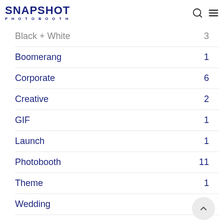Snapshot Photobooth
Black + White 3
Boomerang 1
Corporate 6
Creative 2
GIF 1
Launch 1
Photobooth 11
Theme 1
Wedding 9